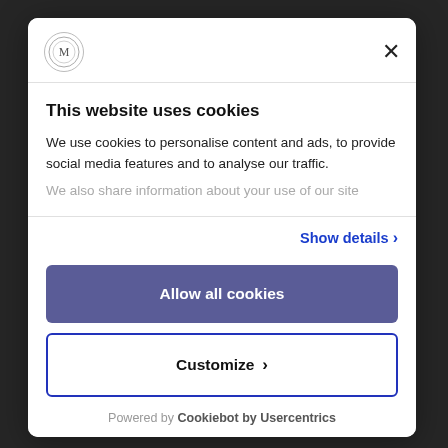[Figure (logo): Circular logo/seal of an organization in the modal header]
This website uses cookies
We use cookies to personalise content and ads, to provide social media features and to analyse our traffic. We also share information about your use of our site
Show details ›
Allow all cookies
Customize ›
Powered by Cookiebot by Usercentrics